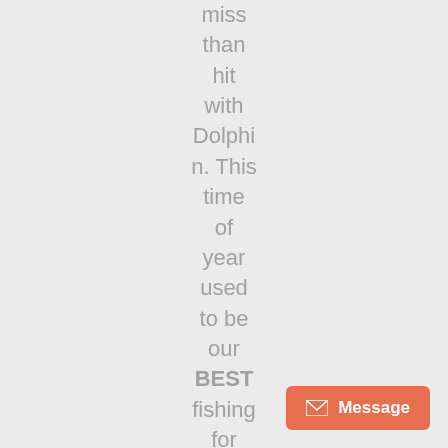miss than hit with Dolphin. This time of year used to be our BEST fishing for Dolphin. When we have found them,
[Figure (other): Orange message button with envelope icon and 'Message' text in bottom right corner]